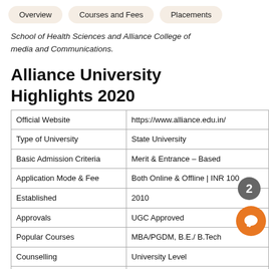Overview | Courses and Fees | Placements
School of Health Sciences and Alliance College of media and Communications.
Alliance University Highlights 2020
|  |  |
| --- | --- |
| Official Website | https://www.alliance.edu.in/ |
| Type of University | State University |
| Basic Admission Criteria | Merit & Entrance - Based |
| Application Mode & Fee | Both Online & Offline | INR 100 |
| Established | 2010 |
| Approvals | UGC Approved |
| Popular Courses | MBA/PGDM, B.E./ B.Tech |
| Counselling | University Level |
| Accepted Entrance Exam | University-Level: AUMAT
National-Level: GMAT, ATMA, N |